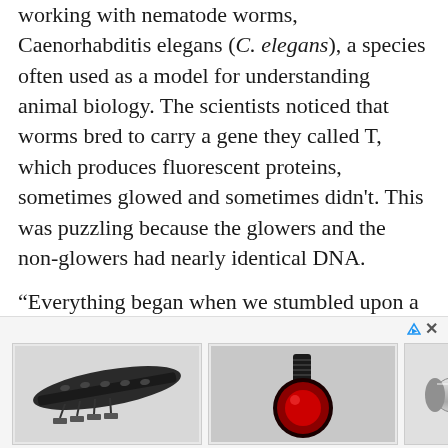working with nematode worms, Caenorhabditis elegans (C. elegans), a species often used as a model for understanding animal biology. The scientists noticed that worms bred to carry a gene they called T, which produces fluorescent proteins, sometimes glowed and sometimes didn't. This was puzzling because the glowers and the non-glowers had nearly identical DNA.
“Everything began when we stumbled upon a rare gene that underwent permanent change for hundreds of generations just by mating. We could have easily missed it,” said Sindhuja Devanapally (Ph.D. ’18, biological sciences), a co-lead author of the study who is now a postdoctoral fellow at
[Figure (photo): Advertisement banner showing three product images: a black perforated car running board/step with mounting hardware, a black round ball joint or automotive part, and a silver cylindrical metal part. A logo for a brand (State) appears on the right.]